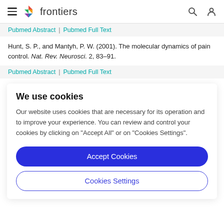frontiers (navigation bar with hamburger menu, logo, search and user icons)
Pubmed Abstract | Pubmed Full Text
Hunt, S. P., and Mantyh, P. W. (2001). The molecular dynamics of pain control. Nat. Rev. Neurosci. 2, 83–91.
Pubmed Abstract | Pubmed Full Text
We use cookies
Our website uses cookies that are necessary for its operation and to improve your experience. You can review and control your cookies by clicking on "Accept All" or on "Cookies Settings".
Accept Cookies
Cookies Settings